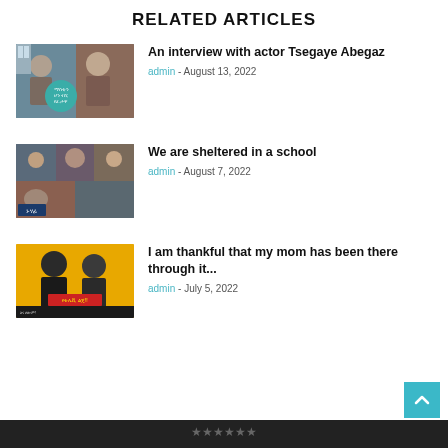RELATED ARTICLES
[Figure (photo): Two men in a TV studio interview setting with Ethiopic text overlay]
An interview with actor Tsegaye Abegaz
admin - August 13, 2022
[Figure (photo): Group of people in distress with a news channel logo overlay]
We are sheltered in a school
admin - August 7, 2022
[Figure (photo): Two young people against yellow background with Ethiopic text overlay]
I am thankful that my mom has been there through it...
admin - July 5, 2022